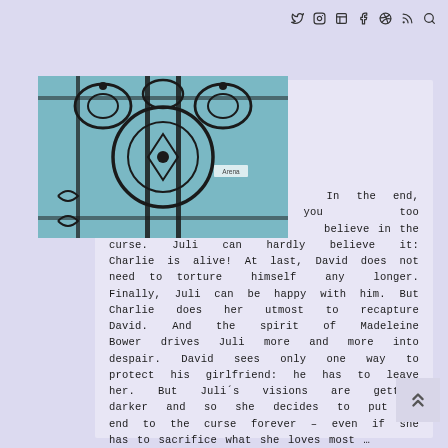social media icons: twitter, instagram, menu, facebook, pinterest, rss, search
[Figure (photo): Photo of decorative black wrought iron scrollwork/gate against a turquoise/blue wall, with small text 'Arena' visible]
In the end, you too believe in the curse. Juli can hardly believe it: Charlie is alive! At last, David does not need to torture himself any longer. Finally, Juli can be happy with him. But Charlie does her utmost to recapture David. And the spirit of Madeleine Bower drives Juli more and more into despair. David sees only one way to protect his girlfriend: he has to leave her. But Juli´s visions are getting darker and so she decides to put an end to the curse forever – even if she has to sacrifice what she loves most …